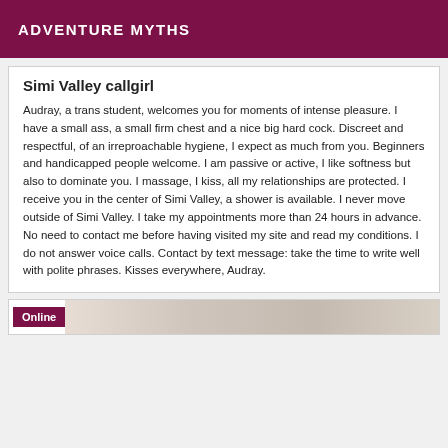ADVENTURE MYTHS
Simi Valley callgirl
Audray, a trans student, welcomes you for moments of intense pleasure. I have a small ass, a small firm chest and a nice big hard cock. Discreet and respectful, of an irreproachable hygiene, I expect as much from you. Beginners and handicapped people welcome. I am passive or active, I like softness but also to dominate you. I massage, I kiss, all my relationships are protected. I receive you in the center of Simi Valley, a shower is available. I never move outside of Simi Valley. I take my appointments more than 24 hours in advance. No need to contact me before having visited my site and read my conditions. I do not answer voice calls. Contact by text message: take the time to write well with polite phrases. Kisses everywhere, Audray.
Online